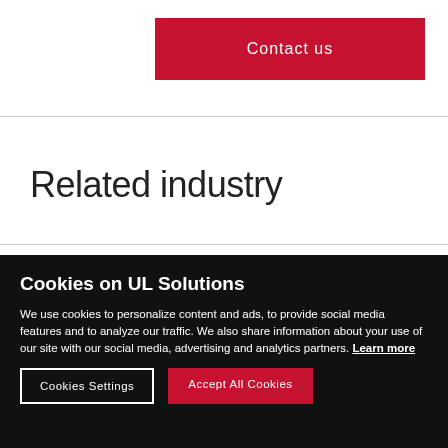Contact us
Related industry
Cookies on UL Solutions
We use cookies to personalize content and ads, to provide social media features and to analyze our traffic. We also share information about your use of our site with our social media, advertising and analytics partners. Learn more
Cookies Settings
Accept All Cookies